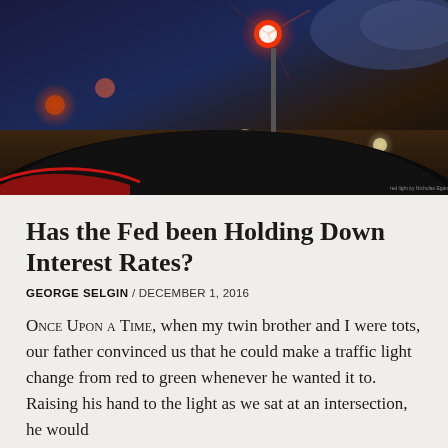[Figure (photo): View from inside a car at night showing a red traffic light at an intersection, with bokeh lights and dark sky visible through the windshield.]
Has the Fed been Holding Down Interest Rates?
GEORGE SELGIN / DECEMBER 1, 2016
ONCE UPON A TIME, when my twin brother and I were tots, our father convinced us that he could make a traffic light change from red to green whenever he wanted it to. Raising his hand to the light as we sat at an intersection, he would